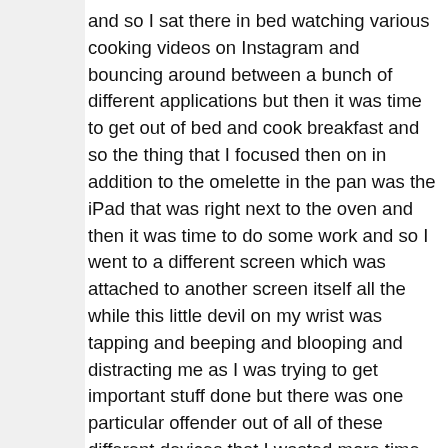and so I sat there in bed watching various cooking videos on Instagram and bouncing around between a bunch of different applications but then it was time to get out of bed and cook breakfast and so the thing that I focused then on in addition to the omelette in the pan was the iPad that was right next to the oven and then it was time to do some work and so I went to a different screen which was attached to another screen itself all the while this little devil on my wrist was tapping and beeping and blooping and distracting me as I was trying to get important stuff done but there was one particular offender out of all of these different devices that I wasted more time on than anything else that was this dastardly thing my phone I could spend hours on this thing every single day and so I decided to essentially for all intents and purposes get rid of the thing for a month as an experiment I thought I'm gonna live on this thing for just 30 minutes every single day at a maximum and so this is the amount of time I have for maps this is the amount of time to call my mother this is the amount of time that I have for everything that I could possibly want to do to listen to music